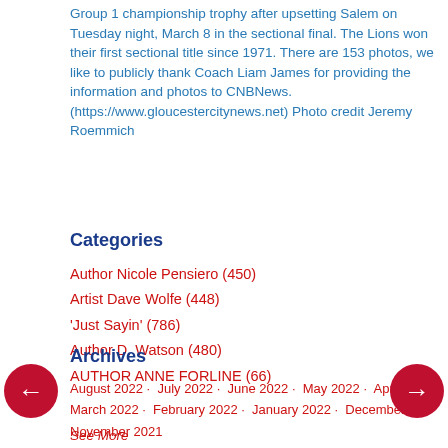Group 1 championship trophy after upsetting Salem on Tuesday night, March 8 in the sectional final. The Lions won their first sectional title since 1971. There are 153 photos, we like to publicly thank Coach Liam James for providing the information and photos to CNBNews. (https://www.gloucestercitynews.net) Photo credit Jeremy Roemmich
Categories
Author Nicole Pensiero (450)
Artist Dave Wolfe (448)
'Just Sayin' (786)
Author D. Watson (480)
AUTHOR ANNE FORLINE (66)
See More
Archives
August 2022 · July 2022 · June 2022 · May 2022 · April 2022 · March 2022 · February 2022 · January 2022 · December 2021 · November 2021 · More